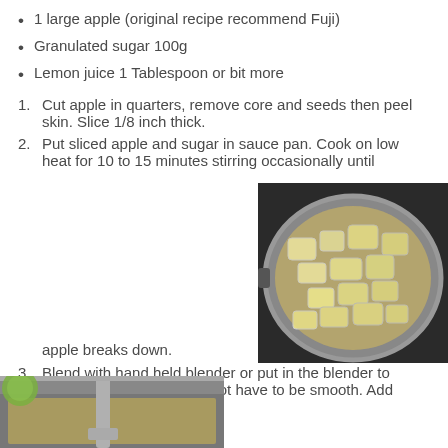1 large apple (original recipe recommend Fuji)
Granulated sugar 100g
Lemon juice 1 Tablespoon or bit more
Cut apple in quarters, remove core and seeds then peel skin. Slice 1/8 inch thick.
Put sliced apple and sugar in sauce pan. Cook on low heat for 10 to 15 minutes stirring occasionally until apple breaks down.
[Figure (photo): Sliced apples cooking in a sauce pan on a stove, showing apple pieces breaking down with sugar]
Blend with hand held blender or put in the blender to make sauce. Note: Does not have to be smooth. Add lemon juice.
[Figure (photo): A hand blender being used in a pot to blend the cooked apple sauce]